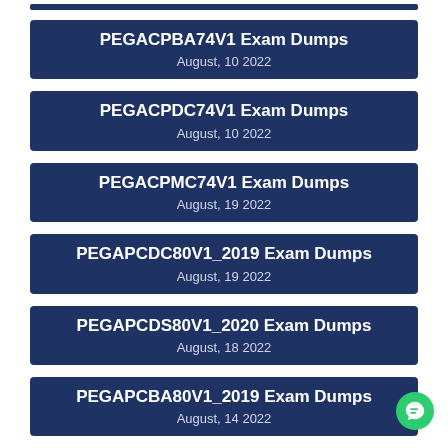PEGACPBA74V1 Exam Dumps
August, 10 2022
PEGACPDC74V1 Exam Dumps
August, 10 2022
PEGACPMC74V1 Exam Dumps
August, 19 2022
PEGAPCDC80V1_2019 Exam Dumps
August, 19 2022
PEGAPCDS80V1_2020 Exam Dumps
August, 18 2022
PEGAPCBA80V1_2019 Exam Dumps
August, 14 2022
PEGAPCSA80V1_2019 Exam Dumps
August, 15 2022